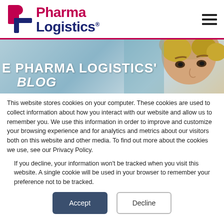[Figure (logo): Pharma Logistics logo with red and blue L/P icon and company name in red (Pharma) and navy (Logistics) with registered trademark symbol]
[Figure (photo): Banner image showing a close-up of a smiling woman's face on a teal/blue background with white text overlay reading 'E PHARMA LOGISTICS' BLOG']
This website stores cookies on your computer. These cookies are used to collect information about how you interact with our website and allow us to remember you. We use this information in order to improve and customize your browsing experience and for analytics and metrics about our visitors both on this website and other media. To find out more about the cookies we use, see our Privacy Policy.
If you decline, your information won't be tracked when you visit this website. A single cookie will be used in your browser to remember your preference not to be tracked.
Accept
Decline